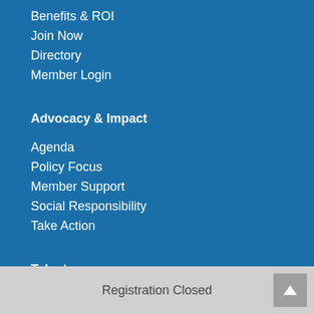Benefits & ROI
Join Now
Directory
Member Login
Advocacy & Impact
Agenda
Policy Focus
Member Support
Social Responsibility
Take Action
Talent
Strategy & Initiatives
Development
Diversity, Equity & Inclusion
Registration Closed